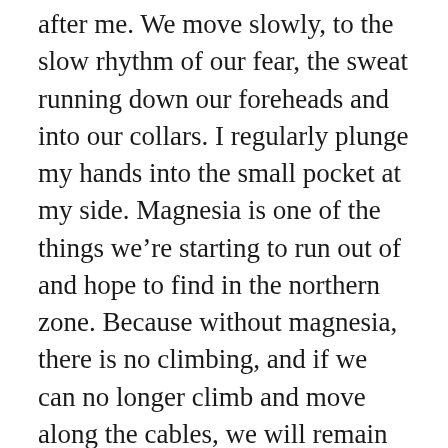after me. We move slowly, to the slow rhythm of our fear, the sweat running down our foreheads and into our collars. I regularly plunge my hands into the small pocket at my side. Magnesia is one of the things we're starting to run out of and hope to find in the northern zone. Because without magnesia, there is no climbing, and if we can no longer climb and move along the cables, we will remain stuck on one of the towers, doomed to starve in a long agony.
Our progress is facilitated by the absence of wind and, a quarter of an hour later, we reach the next tower, a few floors below.